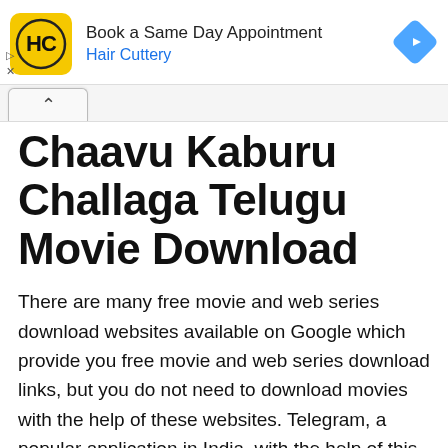[Figure (infographic): Hair Cuttery advertisement banner with yellow logo showing HC letters, text 'Book a Same Day Appointment' and 'Hair Cuttery' in blue, and a blue diamond navigation icon on the right. Ad controls showing play triangle and X below.]
Chaavu Kaburu Challaga Telugu Movie Download
There are many free movie and web series download websites available on Google which provide you free movie and web series download links, but you do not need to download movies with the help of these websites. Telegram, a popular application in India, with the help of this application you